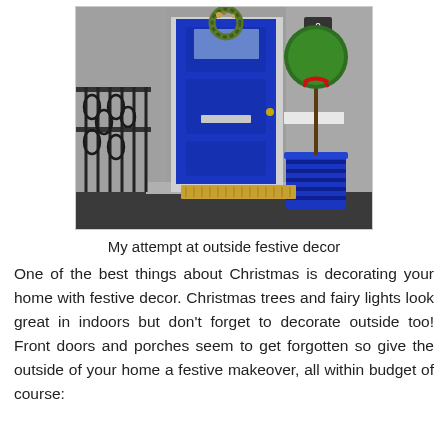[Figure (photo): Photo of a front door with blue paint and a Christmas wreath, next to a blue ribbed plant pot with a small topiary tree decorated with a red ribbon. There is a doormat on the ground and ornamental iron railings on the left.]
My attempt at outside festive decor
One of the best things about Christmas is decorating your home with festive decor. Christmas trees and fairy lights look great in indoors but don't forget to decorate outside too! Front doors and porches seem to get forgotten so give the outside of your home a festive makeover, all within budget of course: